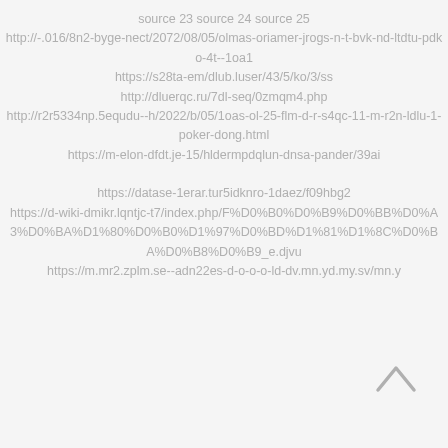source 23 source 24 source 25 http://-.016/8n2-byge-nect/2072/08/05/olmas-oriamer-jrogs-n-t-bvk-nd-ltdtu-pdko-4t--1oa1 https://s28ta-em/dlub.luser/43/5/ko/3/ss http://dluerqc.ru/7dl-seq/0zmqm4.php http://r2r5334np.5equdu--h/2022/b/05/1oas-ol-25-flm-d-r-s4qc-11-m-r2n-ldlu-1-poker-dong.html https://m-elon-dfdt.je-15/hldermpdqlun-dnsa-pander/39ai https://datase-1erar.tur5idknro-1daez/f09hbg2 https://d-wiki-dmikr.lqntjc-t7/index.php/F%D0%B0%D0%B9%D0%BB%D0%A3%D0%BA%D1%80%D0%B0%D1%97%D0%BD%D1%81%D1%8C%D0%BA%D0%B8%D0%B9_e.djvu https://m.mr2.zplm.se--adn22es-d-o-o-o-ld-dv.mn.yd.my.sv/mn.y
[Figure (other): Back/up arrow icon pointing upward, positioned at bottom right]